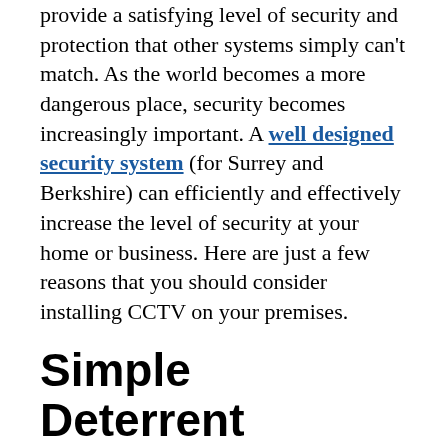provide a satisfying level of security and protection that other systems simply can't match. As the world becomes a more dangerous place, security becomes increasingly important. A well designed security system (for Surrey and Berkshire) can efficiently and effectively increase the level of security at your home or business. Here are just a few reasons that you should consider installing CCTV on your premises.
Simple Deterrent
Burglar alarms have long been known to deter crime – here's some other deterrents to consider. When criminals go looking for a place to ply their nefarious trade, studies prove that they stay away when visible security systems are on display. If